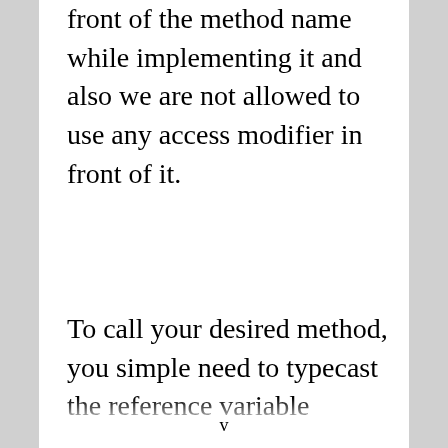front of the method name while implementing it and also we are not allowed to use any access modifier in front of it.
To call your desired method, you simple need to typecast the reference variable pointing to a component which the...
v